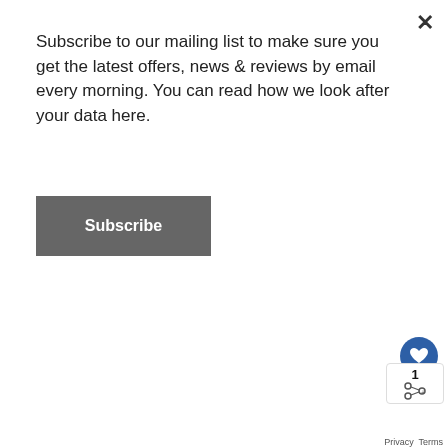Subscribe to our mailing list to make sure you get the latest offers, news & reviews by email every morning. You can read how we look after your data here.
Subscribe
Nobu restaurant
[Figure (photo): Interior of Nobu restaurant showing dining tables with yellow tableware, chairs, large windows with green trees visible outside, and an elaborate dark grid ceiling with recessed lighting.]
1
Privacy  Terms